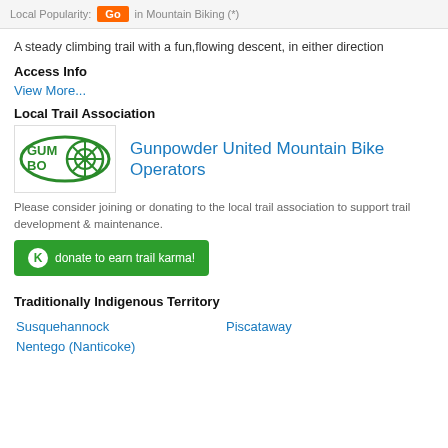Local Popularity: GO in Mountain Biking (*)
A steady climbing trail with a fun,flowing descent, in either direction
Access Info
View More...
Local Trail Association
[Figure (logo): GUMBO logo - Gunpowder United Mountain Bike Operators wheel/gear graphic with green text]
Gunpowder United Mountain Bike Operators
Please consider joining or donating to the local trail association to support trail development & maintenance.
donate to earn trail karma!
Traditionally Indigenous Territory
Susquehannock
Piscataway
Nentego (Nanticoke)